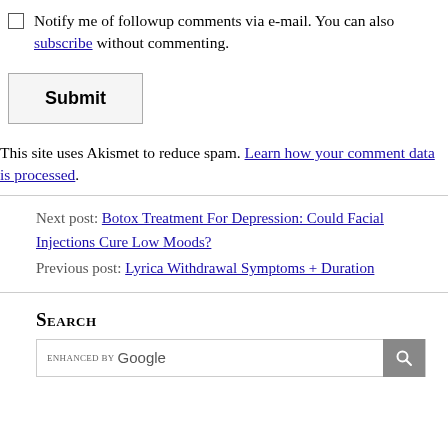Notify me of followup comments via e-mail. You can also subscribe without commenting.
Submit
This site uses Akismet to reduce spam. Learn how your comment data is processed.
Next post: Botox Treatment For Depression: Could Facial Injections Cure Low Moods?
Previous post: Lyrica Withdrawal Symptoms + Duration
Search
enhanced by Google